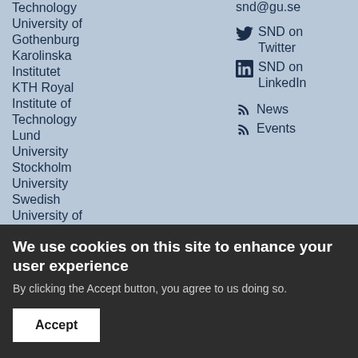Technology University of Gothenburg
Karolinska Institutet
KTH Royal Institute of Technology
Lund University
Stockholm University
Swedish University of Agricultural
snd@gu.se
SND on Twitter
SND on LinkedIn
News
Events
We use cookies on this site to enhance your user experience
By clicking the Accept button, you agree to us doing so.
Accept